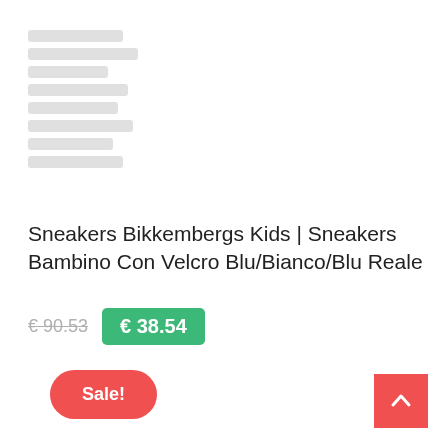[Figure (other): Sidebar navigation menu items shown as grey placeholder bars]
Sneakers Bikkembergs Kids | Sneakers Bambino Con Velcro Blu/Bianco/Blu Reale
€ 90.53  € 38.54
Sale!
[Figure (other): Back to top button — red square with upward chevron arrow]